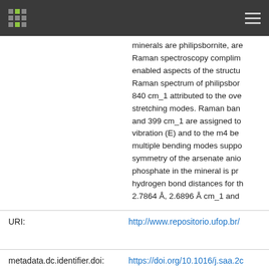[Repository logo and navigation menu]
minerals are philipsbornite, are Raman spectroscopy complim enabled aspects of the structu Raman spectrum of philipsbor 840 cm_1 attributed to the ove stretching modes. Raman ban and 399 cm_1 are assigned to vibration (E) and to the m4 be multiple bending modes suppo symmetry of the arsenate anio phosphate in the mineral is pr hydrogen bond distances for th 2.7864 Å, 2.6896 Å cm_1 and
URI:
http://www.repositorio.ufop.br/
metadata.dc.identifier.doi:
https://doi.org/10.1016/j.saa.2c
ISSN:
1386-1425